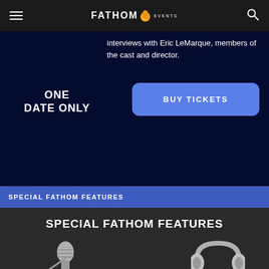Fathom Events
interviews with Eric LeMarque, members of the cast and director.
ONE DATE ONLY
BUY TICKETS
SPECIAL FATHOM FEATURES
SPECIAL FATHOM FEATURES
[Figure (illustration): Microphone icon (gray) at bottom left, partially visible]
[Figure (illustration): Headphones icon (gray) at bottom right, partially visible]